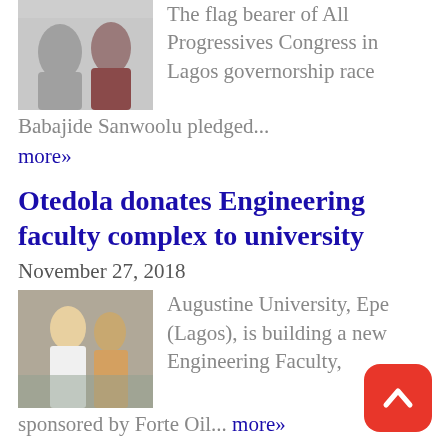[Figure (photo): Two men posing, one in maroon suit]
The flag bearer of All Progressives Congress in Lagos governorship race Babajide Sanwoolu pledged...
more»
Otedola donates Engineering faculty complex to university
November 27, 2018
[Figure (photo): People at a ceremony, outdoor setting]
Augustine University, Epe (Lagos), is building a new Engineering Faculty, sponsored by Forte Oil... more»
DSS recorded Farouk Lawan, provided the dollars – Otedola tells